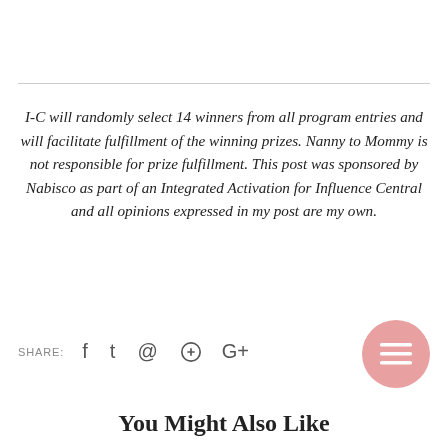I-C will randomly select 14 winners from all program entries and will facilitate fulfillment of the winning prizes. Nanny to Mommy is not responsible for prize fulfillment. This post was sponsored by Nabisco as part of an Integrated Activation for Influence Central and all opinions expressed in my post are my own.
SHARE:
You Might Also Like